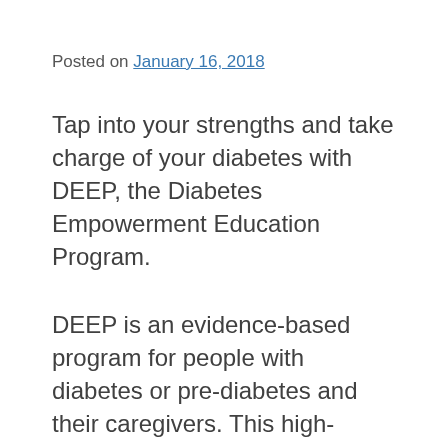Posted on January 16, 2018
Tap into your strengths and take charge of your diabetes with DEEP, the Diabetes Empowerment Education Program.
DEEP is an evidence-based program for people with diabetes or pre-diabetes and their caregivers. This high-energy, hands-on workshop includes activities, demonstrations, role play, and games in a fun and supportive environment. Gain a better understanding of how diabetes